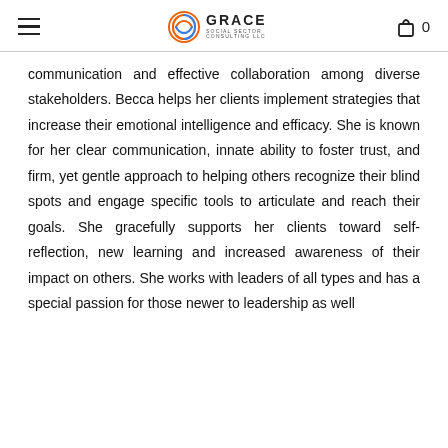GRACE Social Sector Consulting LLC
communication and effective collaboration among diverse stakeholders. Becca helps her clients implement strategies that increase their emotional intelligence and efficacy. She is known for her clear communication, innate ability to foster trust, and firm, yet gentle approach to helping others recognize their blind spots and engage specific tools to articulate and reach their goals. She gracefully supports her clients toward self-reflection, new learning and increased awareness of their impact on others. She works with leaders of all types and has a special passion for those newer to leadership as well